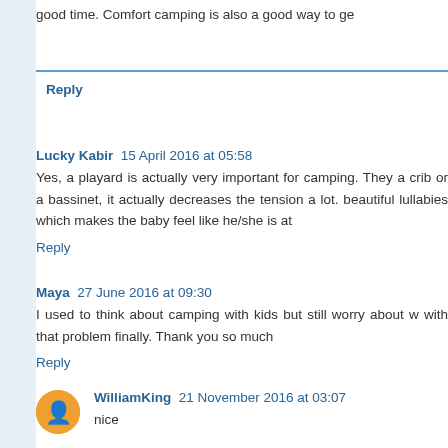good time. Comfort camping is also a good way to ge
Reply
Lucky Kabir  15 April 2016 at 05:58
Yes, a playard is actually very important for camping. They a crib or a bassinet, it actually decreases the tension a lot. beautiful lullabies which makes the baby feel like he/she is at
Reply
Maya  27 June 2016 at 09:30
I used to think about camping with kids but still worry about w with that problem finally. Thank you so much
Reply
WilliamKing  21 November 2016 at 03:07
nice